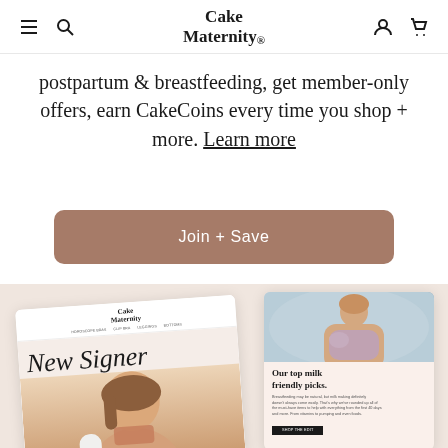Cake Maternity
postpartum & breastfeeding, get member-only offers, earn CakeCoins every time you shop + more. Learn more
Join + Save
[Figure (screenshot): Two overlapping smartphone screenshots showing Cake Maternity email newsletters. Left screenshot shows 'New Signer' with a model wearing a maternity bra. Right screenshot shows 'Our top milk friendly picks.' with a photo of a mother breastfeeding.]